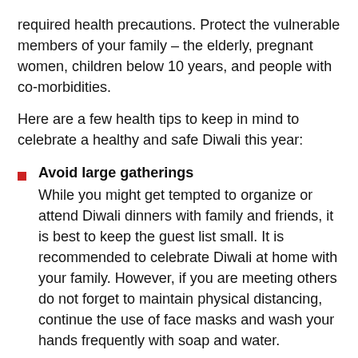required health precautions. Protect the vulnerable members of your family – the elderly, pregnant women, children below 10 years, and people with co-morbidities.
Here are a few health tips to keep in mind to celebrate a healthy and safe Diwali this year:
Avoid large gatherings
While you might get tempted to organize or attend Diwali dinners with family and friends, it is best to keep the guest list small. It is recommended to celebrate Diwali at home with your family. However, if you are meeting others do not forget to maintain physical distancing, continue the use of face masks and wash your hands frequently with soap and water.
Plan virtual celebrations
Cannot meet your extended family due to health